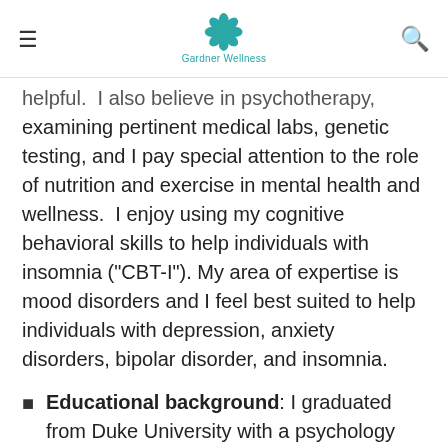Gardner Wellness
helpful.  I also believe in psychotherapy, examining pertinent medical labs, genetic testing, and I pay special attention to the role of nutrition and exercise in mental health and wellness.  I enjoy using my cognitive behavioral skills to help individuals with insomnia ("CBT-I").  My area of expertise is mood disorders and I feel best suited to help individuals with depression, anxiety disorders, bipolar disorder, and insomnia.
Educational background: I graduated from Duke University with a psychology major and received my Masters of Science in Nursing from the Psychiatric Mental Health Nurse Practitioner